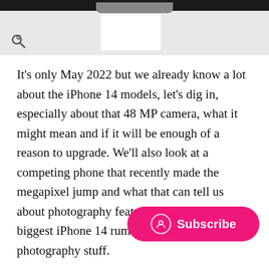[Figure (screenshot): Browser/app top bar with dark header strip, gray background, search icon (magnifying glass) on the left, and a white rectangular element in the center-top portion.]
It's only May 2022 but we already know a lot about the iPhone 14 models, let's dig in, especially about that 48 MP camera, what it might mean and if it will be enough of a reason to upgrade. We'll also look at a competing phone that recently made the megapixel jump and what that can tell us about photography features. We'll cover the biggest iPhone 14 rumours, not just the photography stuff.
This post is based on recent reports, which means this is all subject to change and may not pa… camera would be a big reason for photographers to upgrade if the technology works well. This capability is